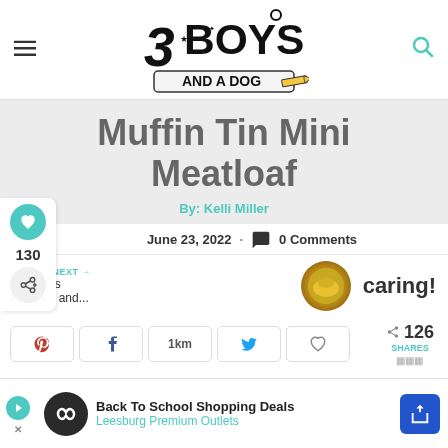3 Boys and a Dog
Muffin Tin Mini Meatloaf
By: Kelli Miller
June 23, 2022 · 0 Comments
130
WHAT'S NEXT → Delicious Chicken and...
caring!
126 SHARES
[Figure (screenshot): Social share buttons row: Pinterest, Facebook, 1km, Twitter, heart/like]
[Figure (screenshot): Ad banner: Back To School Shopping Deals - Leesburg Premium Outlets]